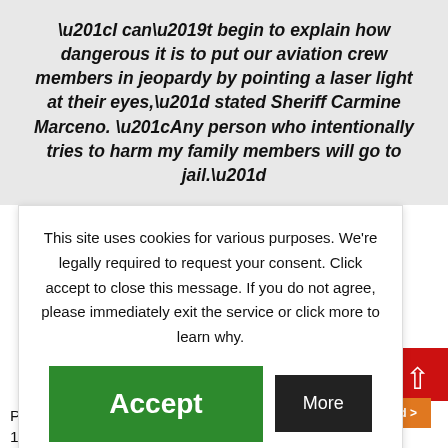“I can’t begin to explain how dangerous it is to put our aviation crew members in jeopardy by pointing a laser light at their eyes,” stated Sheriff Carmine Marceno. “Any person who intentionally tries to harm my family members will go to jail.”
This site uses cookies for various purposes. We’re legally required to request your consent. Click accept to close this message. If you do not agree, please immediately exit the service or click more to learn why.
[Figure (screenshot): Green Accept button and black More button for cookie consent dialog]
[Figure (screenshot): Partial advertisement banner showing blue background with Get Started button]
[Figure (screenshot): Red scroll-to-top button with upward arrow]
Patrol deputies quickly responded and took Xavier Satchel, 18,